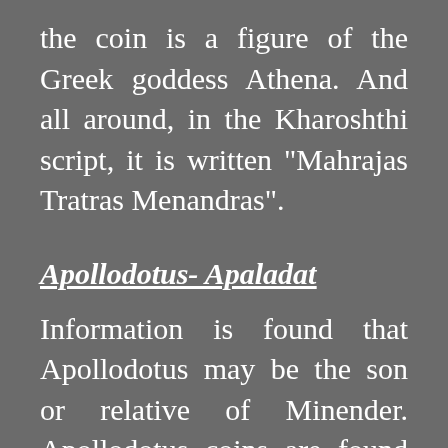the coin is a figure of the Greek goddess Athena. And all around, in the Kharoshthi script, it is written "Mahrajas Tratras Menandras".
Apollodotus- Apaladat
Information is found that Apollodotus may be the son or relative of Minender. Apollodotus coins are found in Bharuch, Gujarat.